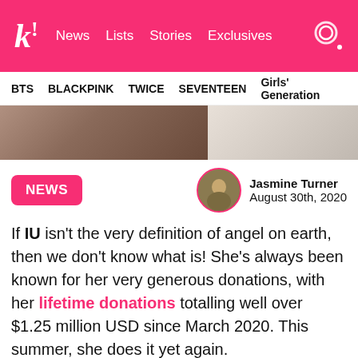k! News Lists Stories Exclusives
BTS  BLACKPINK  TWICE  SEVENTEEN  Girls' Generation
[Figure (photo): Hero image showing two people, cropped]
NEWS
Jasmine Turner
August 30th, 2020
If IU isn't the very definition of angel on earth, then we don't know what is! She's always been known for her very generous donations, with her lifetime donations totalling well over $1.25 million USD since March 2020. This summer, she does it yet again.
[Figure (photo): Bottom photo of a person, dark tones, partially visible]